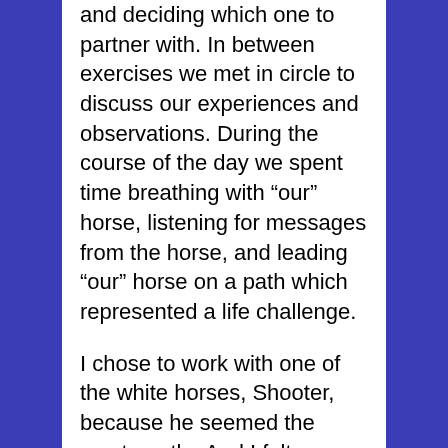and deciding which one to partner with. In between exercises we met in circle to discuss our experiences and observations. During the course of the day we spent time breathing with “our” horse, listening for messages from the horse, and leading “our” horse on a path which represented a life challenge.
I chose to work with one of the white horses, Shooter, because he seemed the most gentle. And I felt affection for him right away.
Shooter taught me something during every activity (and everyone there experienced different lessons from the various horses) but one exercise I believe has changed me profoundly.
We were instructed to go to “our” horse, open our hearts, sense and connect with the horse’s